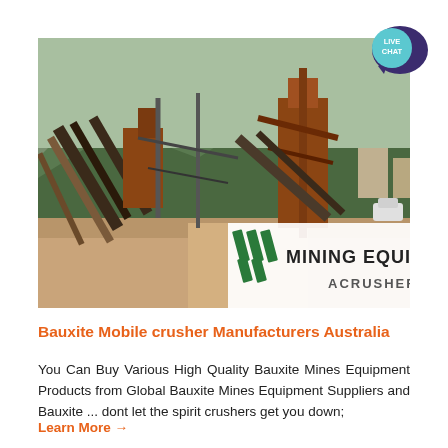[Figure (photo): Mining equipment facility with large conveyor belts and crushing machinery against a green mountain background. Overlay in bottom right shows 'MINING EQUIPMENT ACRUSHER' branding with green diagonal stripes logo. A 'LIVE CHAT' speech bubble badge appears in the top right corner.]
Bauxite Mobile crusher Manufacturers Australia
You Can Buy Various High Quality Bauxite Mines Equipment Products from Global Bauxite Mines Equipment Suppliers and Bauxite ... dont let the spirit crushers get you down;
Learn More →